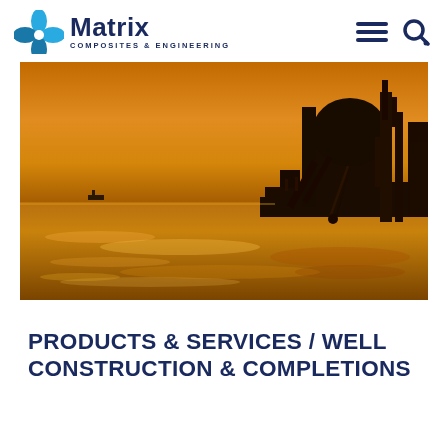Matrix Composites & Engineering
[Figure (photo): Silhouette of an offshore oil rig platform against a golden/amber sunset over the ocean, showing cranes and industrial structures in dark contrast against the warm glowing sky and reflective water]
PRODUCTS & SERVICES / WELL CONSTRUCTION & COMPLETIONS